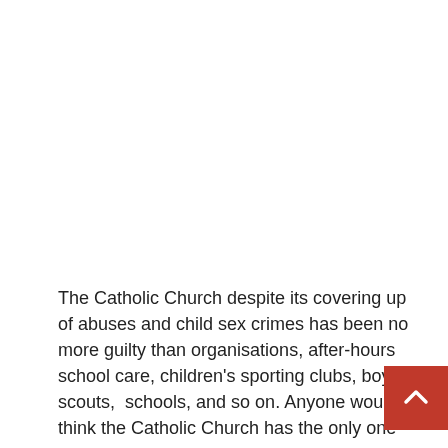The Catholic Church despite its covering up of abuses and child sex crimes has been no more guilty than organisations, after-hours school care, children's sporting clubs, boy scouts,  schools, and so on. Anyone would think the Catholic Church has the only one who has committed abuse and covered up abuse.